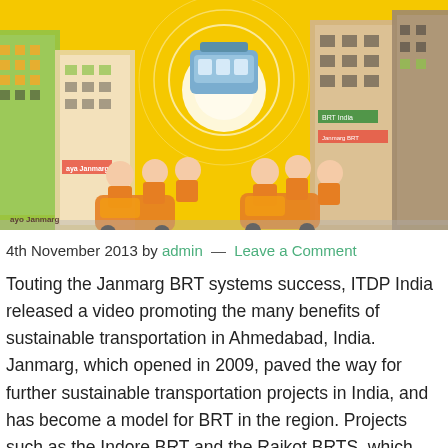[Figure (illustration): Colorful illustrated scene with a yellow background showing crowded city buildings and people on orange vehicles, with a floating blue bus/pod in the center emitting signal waves.]
4th November 2013 by admin — Leave a Comment
Touting the Janmarg BRT systems success, ITDP India released a video promoting the many benefits of sustainable transportation in Ahmedabad, India. Janmarg, which opened in 2009, paved the way for further sustainable transportation projects in India, and has become a model for BRT in the region. Projects such as the Indore BRT and the Rajkot BRTS, which recently reached 14,000 riders a day, were based on the Janmarg BRT.